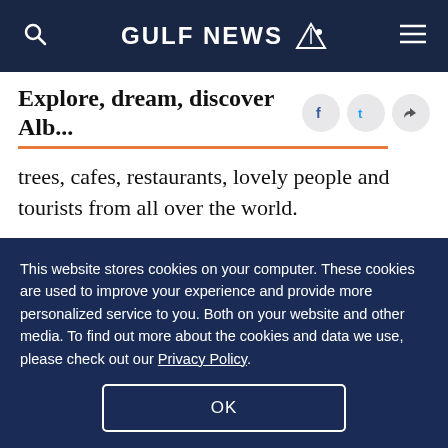GULF NEWS
Explore, dream, discover Alb...
trees, cafes, restaurants, lovely people and tourists from all over the world.
It is rightly said when Tirana is hailed as the city that never sleeps. I also tried out the traditional dishes of Albania such as Imam Bajalldi, Bakllava, Local Pizza, Stuffed Byrek, Pispili, Rice Balls, Rice
This website stores cookies on your computer. These cookies are used to improve your experience and provide more personalized service to you. Both on your website and other media. To find out more about the cookies and data we use, please check out our Privacy Policy.
OK